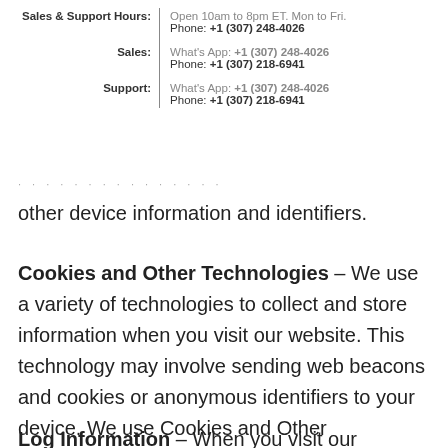| Sales & Support Hours: | Open 10am to 8pm ET. Mon to Fri.
Phone: +1 (307) 248-4026 |
| Sales: | What's App: +1 (307) 248-4026
Phone: +1 (307) 218-6941 |
| Support: | What's App: +1 (307) 248-4026
Phone: +1 (307) 218-6941 |
other device information and identifiers.
Cookies and Other Technologies – We use a variety of technologies to collect and store information when you visit our website. This technology may involve sending web beacons and cookies or anonymous identifiers to your device. We use Cookies and Other Technologies to analyze your behavior when accessing our website and to deliver ads to you that relate to your interests.
Log Information – When you visit our website, we collect